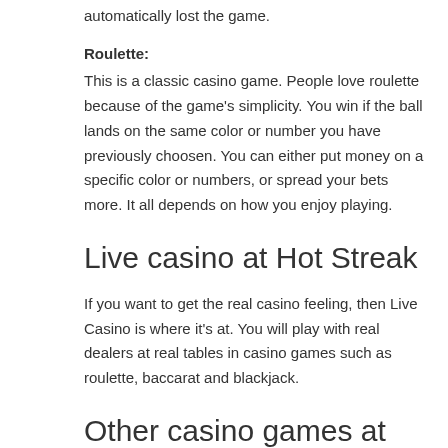automatically lost the game.
Roulette:
This is a classic casino game. People love roulette because of the game's simplicity. You win if the ball lands on the same color or number you have previously choosen. You can either put money on a specific color or numbers, or spread your bets more. It all depends on how you enjoy playing.
Live casino at Hot Streak
If you want to get the real casino feeling, then Live Casino is where it's at. You will play with real dealers at real tables in casino games such as roulette, baccarat and blackjack.
Other casino games at Hot Streak
This section is usually for games that is neither slots or table games. Such as: Bingo, Lotto, Scratchcards and Keno.